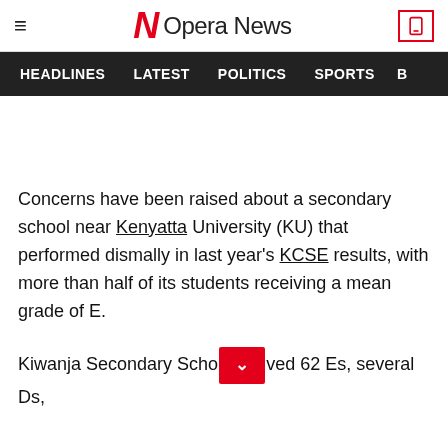Opera News
HEADLINES   LATEST   POLITICS   SPORTS
Concerns have been raised about a secondary school near Kenyatta University (KU) that performed dismally in last year's KCSE results, with more than half of its students receiving a mean grade of E.
Kiwanja Secondary School [button] ved 62 Es, several Ds,